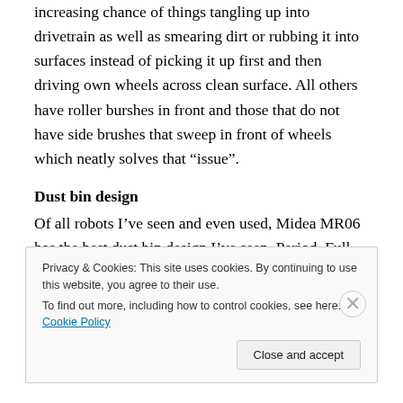increasing chance of things tangling up into drivetrain as well as smearing dirt or rubbing it into surfaces instead of picking it up first and then driving own wheels across clean surface. All others have roller burshes in front and those that do not have side brushes that sweep in front of wheels which neatly solves that “issue”.
Dust bin design
Of all robots I’ve seen and even used, Midea MR06 has the best dust bin design I’ve seen. Period. Full stop. It has a lot of space, one way ingest hatch, large prefilter, large main
Privacy & Cookies: This site uses cookies. By continuing to use this website, you agree to their use.
To find out more, including how to control cookies, see here: Cookie Policy
Close and accept